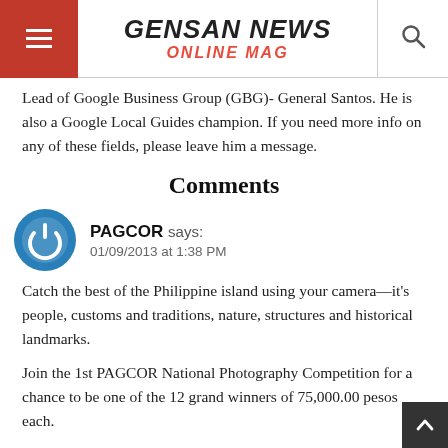GENSAN NEWS ONLINE MAG
Lead of Google Business Group (GBG)- General Santos. He is also a Google Local Guides champion. If you need more info on any of these fields, please leave him a message.
Comments
PAGCOR says:
01/09/2013 at 1:38 PM
Catch the best of the Philippine island using your camera—it's people, customs and traditions, nature, structures and historical landmarks.
Join the 1st PAGCOR National Photography Competition for a chance to be one of the 12 grand winners of 75,000.00 pesos each.